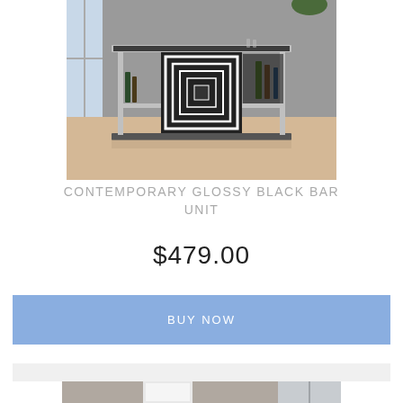[Figure (photo): Contemporary glossy black bar unit with chrome frame, geometric black and white pattern on front panel, glass shelves with bottles and glasses on top, photographed in a modern room with light wood flooring.]
CONTEMPORARY GLOSSY BLACK BAR UNIT
$479.00
BUY NOW
[Figure (photo): Bottom portion of a second product image partially visible, appears to be furniture in a room setting.]